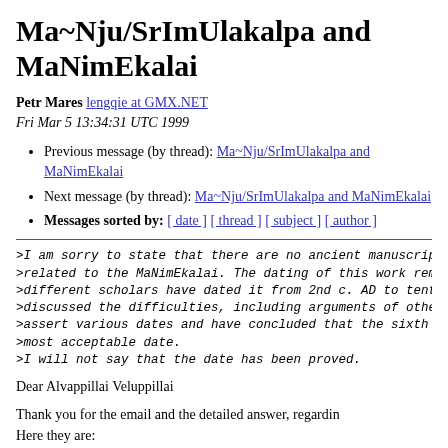Ma~Nju/SrImUlakalpa and MaNimEkalai
Petr Mares lengqie at GMX.NET
Fri Mar 5 13:34:31 UTC 1999
Previous message (by thread): Ma~Nju/SrImUlakalpa and MaNimEkalai
Next message (by thread): Ma~Nju/SrImUlakalpa and MaNimEkalai
Messages sorted by: [ date ] [ thread ] [ subject ] [ author ]
>I am sorry to state that there are no ancient manuscripts
>related to the MaNimEkalai. The dating of this work remains
>different scholars have dated it from 2nd c. AD to tenth
>discussed the difficulties, including arguments of others
>assert various dates and have concluded that the sixth c
>most acceptable date.
>I will not say that the date has been proved.
Dear Alvappillai Veluppillai
Thank you for the email and the detailed answer, regarding
Here they are: